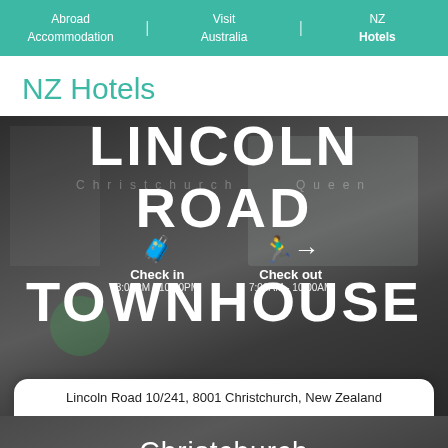Abroad Accommodation | Visit Australia | NZ Hotels
NZ Hotels
[Figure (photo): Hotel room interior photo with large white text overlay reading LINCOLN ROAD TOWNHOUSE, check-in/check-out times (3:00PM-10:00PM and 7:00AM-10:00AM), address card, and Christchurch label]
Lincoln Road 10/241, 8001 Christchurch, New Zealand
Christchurch